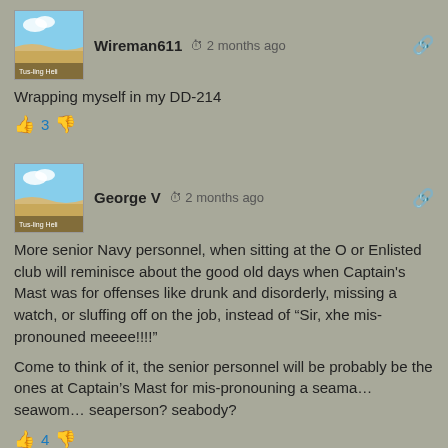[Figure (photo): User avatar thumbnail showing sandy beach and blue sky, with text overlay 'Tustin Heli']
Wireman611  2 months ago
Wrapping myself in my DD-214
3
[Figure (photo): User avatar thumbnail showing sandy beach and blue sky, with text overlay 'Tustin Heli']
George V  2 months ago
More senior Navy personnel, when sitting at the O or Enlisted club will reminisce about the good old days when Captain's Mast was for offenses like drunk and disorderly, missing a watch, or sluffing off on the job, instead of “Sir, xhe mis-pronouned meeee!!!!”
Come to think of it, the senior personnel will be probably be the ones at Captain’s Mast for mis-pronouning a seama… seawom… seaperson? seabody?
4